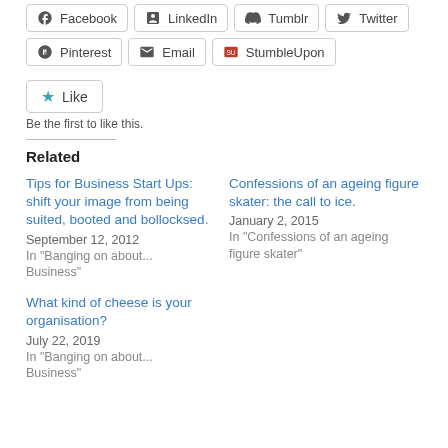[Figure (other): Social share buttons row 1: Facebook, LinkedIn, Tumblr, Twitter]
[Figure (other): Social share buttons row 2: Pinterest, Email, StumbleUpon]
[Figure (other): Like button widget]
Be the first to like this.
Related
Tips for Business Start Ups: shift your image from being suited, booted and bollocksed.
September 12, 2012
In "Banging on about... Business"
Confessions of an ageing figure skater: the call to ice.
January 2, 2015
In "Confessions of an ageing figure skater"
What kind of cheese is your organisation?
July 22, 2019
In "Banging on about... Business"